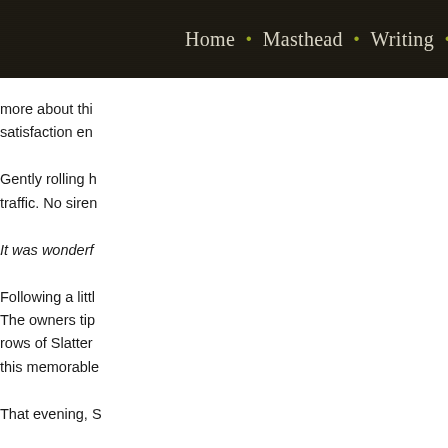Home • Masthead • Writing • R
more about thi satisfaction en
Gently rolling h traffic. No siren
It was wonderf
Following a litt The owners tip rows of Slatter this memorable
That evening, S
>> What happe produced by B